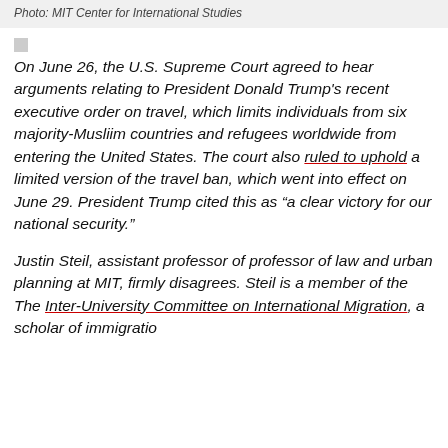Photo: MIT Center for International Studies
[Figure (other): Small gray square placeholder icon]
On June 26, the U.S. Supreme Court agreed to hear arguments relating to President Donald Trump's recent executive order on travel, which limits individuals from six majority-Musliim countries and refugees worldwide from entering the United States. The court also ruled to uphold a limited version of the travel ban, which went into effect on June 29. President Trump cited this as “a clear victory for our national security.”
Justin Steil, assistant professor of professor of law and urban planning at MIT, firmly disagrees. Steil is a member of the The Inter-University Committee on International Migration, a scholar of immigration...